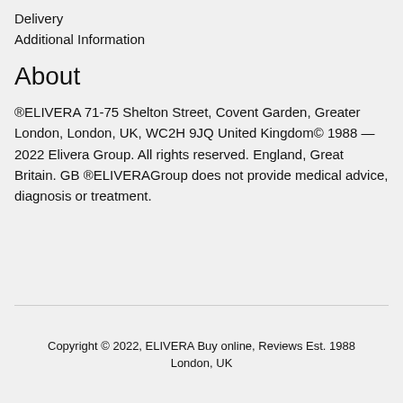Delivery
Additional Information
About
®ELIVERA 71-75 Shelton Street, Covent Garden, Greater London, London, UK, WC2H 9JQ United Kingdom© 1988 — 2022 Elivera Group. All rights reserved. England, Great Britain. GB ®ELIVERAGroup does not provide medical advice, diagnosis or treatment.
Copyright © 2022, ELIVERA Buy online, Reviews Est. 1988
London, UK